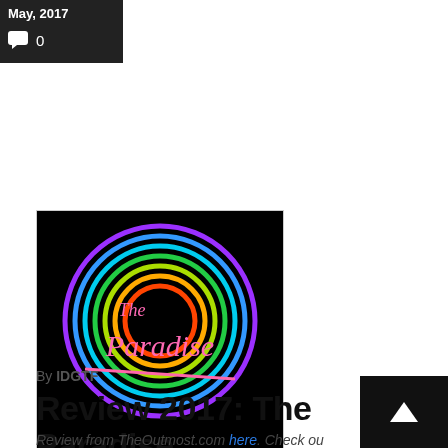May, 2017
💬 0
[Figure (logo): The Paradise neon-style logo: colorful concentric circles (purple, blue, cyan, green, yellow, orange) on a black background with pink neon script text reading 'The Paradise']
By IDGTF
Review 2017: The Paradise
Review from TheOutmost.com here. Check ou